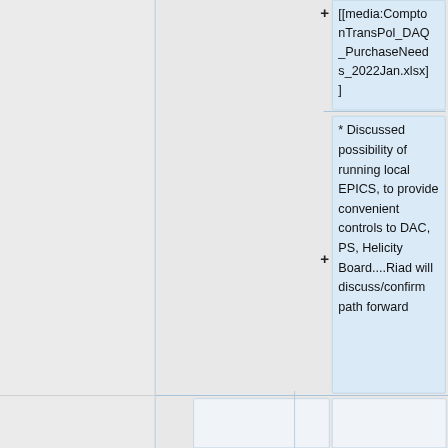[[media:ComptonTransPol_DAQ_PurchaseNeeds_2022Jan.xlsx]]
* Discussed possibility of running local EPICS, to provide convenient controls to DAC, PS, Helicity Board....Riad will discuss/confirm path forward
==Polarized